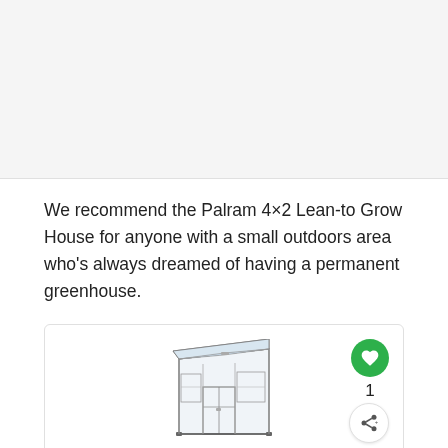[Figure (other): Gray background area at top of page, likely image placeholder]
We recommend the Palram 4×2 Lean-to Grow House for anyone with a small outdoors area who's always dreamed of having a permanent greenhouse.
[Figure (illustration): Illustration of a lean-to greenhouse with transparent polycarbonate panels and aluminum frame, with a heart/like button showing count of 1 and a share button]
Palram 4ft x 2ft Lean-to Grow House
See availability from the best retailers